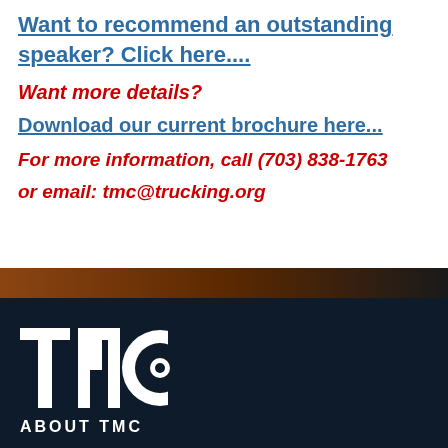Want to recommend an outstanding speaker?  Click here....
Want more details?
Download our current brochure here...
For more information, call (703) 838-1763
or email: tmc@trucking.org
[Figure (logo): TMC logo in white on dark navy background]
ABOUT TMC